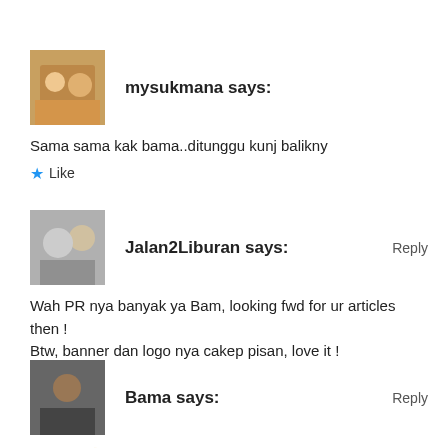[Figure (photo): Avatar photo of mysukmana - group of people]
mysukmana says:
Sama sama kak bama..ditunggu kunj balikny
Like
[Figure (photo): Avatar photo of Jalan2Liburan - two people]
Jalan2Liburan says:
Reply
Wah PR nya banyak ya Bam, looking fwd for ur articles then ! Btw, banner dan logo nya cakep pisan, love it !
Like
[Figure (photo): Avatar photo of Bama - man in dark shirt]
Bama says:
Reply
Banget! 🙂 Nanti setelah balik PR nih nyusun urutan post mana